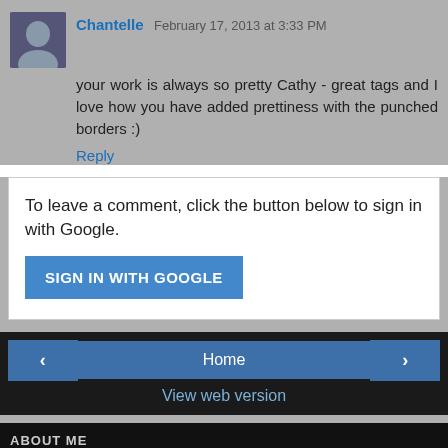Chantelle  February 17, 2013 at 3:33 PM
your work is always so pretty Cathy - great tags and I love how you have added prettiness with the punched borders :)
Reply
To leave a comment, click the button below to sign in with Google.
SIGN IN WITH GOOGLE
Home
View web version
ABOUT ME
Cathy
Hi, I am a passionate scrapbooking artist. I live in sunny Queensland with my husband and my teenage son and daughter, who are the reason I became totally addicted to